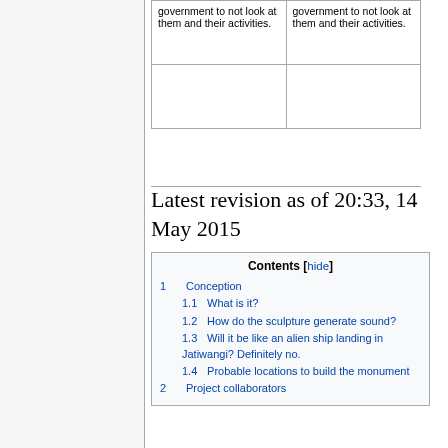| government to not look at them and their activities. | government to not look at them and their activities. |
|  |  |
Latest revision as of 20:33, 14 May 2015
| Contents [hide] |
| --- |
| 1 Conception |
| 1.1 What is it? |
| 1.2 How do the sculpture generate sound? |
| 1.3 Will it be like an alien ship landing in Jatiwangi? Definitely no. |
| 1.4 Probable locations to build the monument |
| 2 Project collaborators |